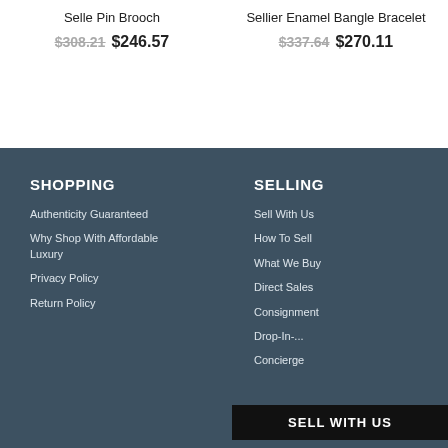Selle Pin Brooch
$308.21 $246.57
Sellier Enamel Bangle Bracelet
$337.64 $270.11
SHOPPING
Authenticity Guaranteed
Why Shop With Affordable Luxury
Privacy Policy
Return Policy
SELLING
Sell With Us
How To Sell
What We Buy
Direct Sales
Consignment
Drop-In-...
Concierge
SELL WITH US